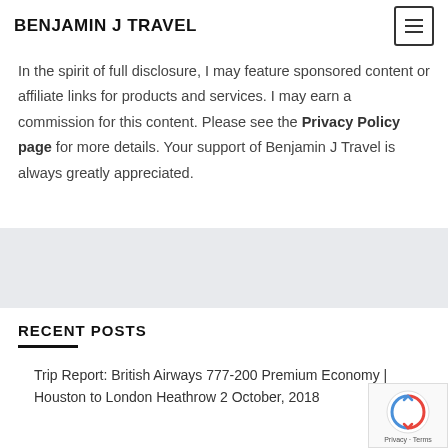BENJAMIN J TRAVEL
In the spirit of full disclosure, I may feature sponsored content or affiliate links for products and services. I may earn a commission for this content. Please see the Privacy Policy page for more details. Your support of Benjamin J Travel is always greatly appreciated.
RECENT POSTS
Trip Report: British Airways 777-200 Premium Economy | Houston to London Heathrow 2 October, 2018